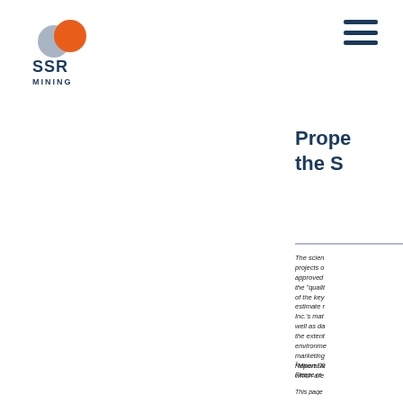[Figure (logo): SSR Mining logo: two overlapping circles (grey and orange) above text 'SSR MINING' in dark navy blue]
[Figure (other): Hamburger menu icon (three dark navy horizontal lines) in top-right corner]
Prope... the S...
The scien... projects o... approved ... the "qualit... of the key... estimate r... Inc.'s mat... well as da... the extent... environme... marketing... Report Su... which are...
1Mineral R... Please re...
This page...